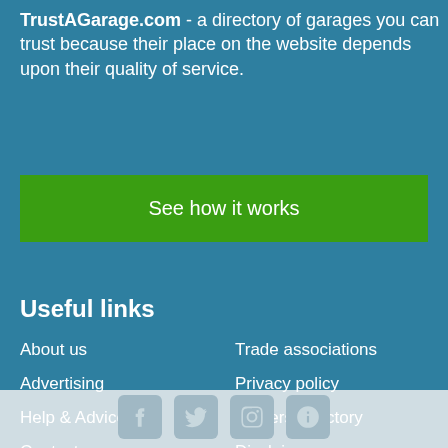TrustAGarage.com - a directory of garages you can trust because their place on the website depends upon their quality of service.
See how it works
Useful links
About us
Trade associations
Advertising
Privacy policy
Help & Advice
Traders directory
Contact us
Disclaimer
News
Terms
Social pages
[Figure (other): Social media icons: Facebook, Twitter, Instagram, and another icon in a gray footer bar]